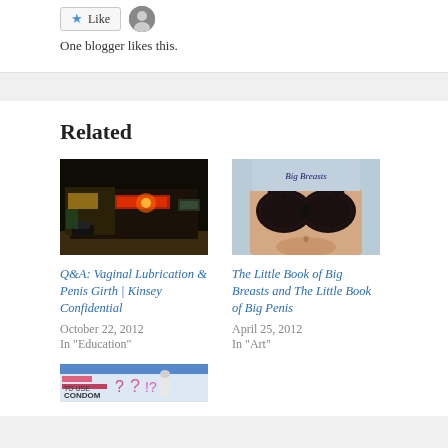One blogger likes this.
Related
[Figure (photo): Night time exterior of a Jiffy Lube / auto service building with illuminated signage]
Q&A: Vaginal Lubrication & Penis Girth | Kinsey Confidential
October 22, 2012
In "Education"
[Figure (photo): Close-up of woman's torso wearing a black lace bra against light blue background, partial book cover]
The Little Book of Big Breasts and The Little Book of Big Penis
April 25, 2012
In "Art"
[Figure (photo): Partial image of what appears to be an educational/health infographic about condom use]